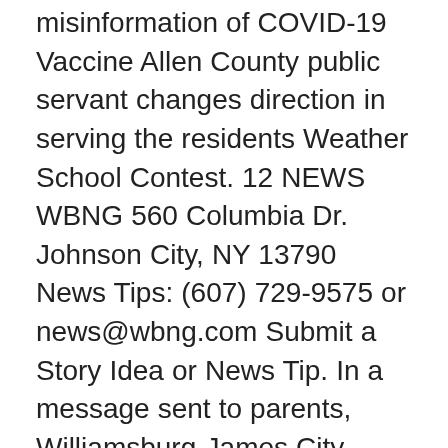misinformation of COVID-19 Vaccine Allen County public servant changes direction in serving the residents Weather School Contest. 12 NEWS WBNG 560 Columbia Dr. Johnson City, NY 13790 News Tips: (607) 729-9575 or news@wbng.com Submit a Story Idea or News Tip. In a message sent to parents, Williamsburg-James City County schools superintendent Olwen Herron said that they Matthew Whaley Elementary School will close at 10:30 a.m. Friday. Alexander City schools w ill be closed Friday. This list will be updated. School districts that are teaching remotely because of the coronavirus likely will not be affected. Submit a Story. A list of school cancellations and delays in Northeast Ohio is below. Check frequently for updated information on school delays, early dismissals, school closings, and school cancellations in James City County Virginia due to winter and inclement weather, as